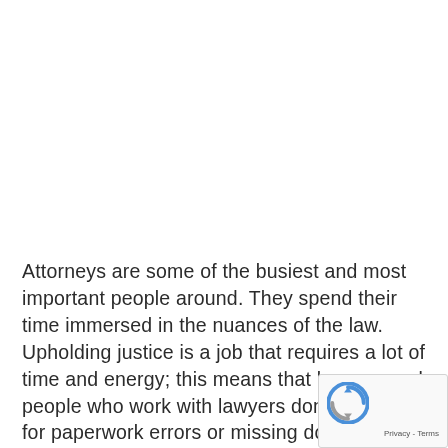Attorneys are some of the busiest and most important people around. They spend their time immersed in the nuances of the law. Upholding justice is a job that requires a lot of time and energy; this means that lawyers and people who work with lawyers don't have time for paperwork errors or missing documents. Each document could be absolutely vital to a case and if a file can't be found, it could mean the difference between a person's freedom and a lifetime spent